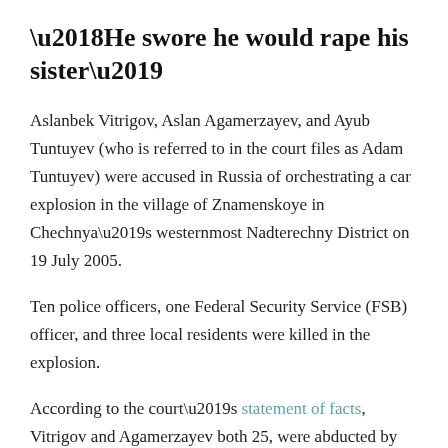‘He swore he would rape his sister’
Aslanbek Vitrigov, Aslan Agamerzayev, and Ayub Tuntuyev (who is referred to in the court files as Adam Tuntuyev) were accused in Russia of orchestrating a car explosion in the village of Znamenskoye in Chechnya’s westernmost Nadterechny District on 19 July 2005.
Ten police officers, one Federal Security Service (FSB) officer, and three local residents were killed in the explosion.
According to the court’s statement of facts, Vitrigov and Agamerzayev both 25, were abducted by the security forces from a pasture where they were grazing their cattle on 20–21 July 2005. According to the court, they were then tortured for two weeks in a local police station.